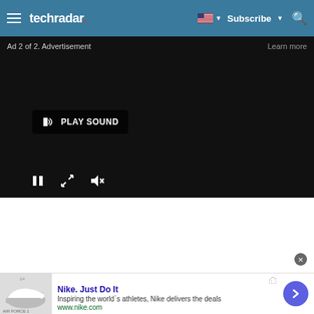techradar — Subscribe — Search
[Figure (screenshot): Video player showing a dark/black advertisement screen with 'Ad 2 of 2. Advertisement' label, 'Learn more' link, 'PLAY SOUND' button, and video controls (pause, expand, mute) at the bottom.]
[Figure (screenshot): Nike advertisement banner showing Air Force 1 shoes image, 'Nike. Just Do It' headline in blue, 'Inspiring the world's athletes, Nike delivers the deals' description, 'www.nike.com' URL in green, and a purple arrow button.]